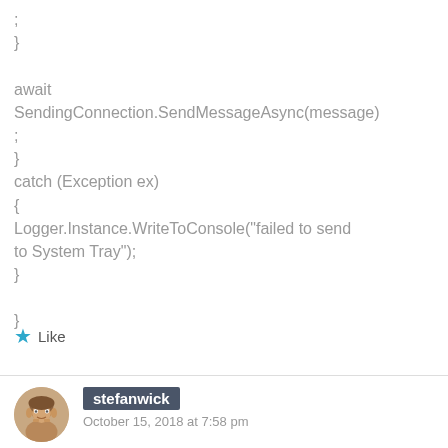;
}

await SendingConnection.SendMessageAsync(message);
}
catch (Exception ex)
{
Logger.Instance.WriteToConsole("failed to send to System Tray");
}

}
Like
stefanwick
October 15, 2018 at 7:58 pm